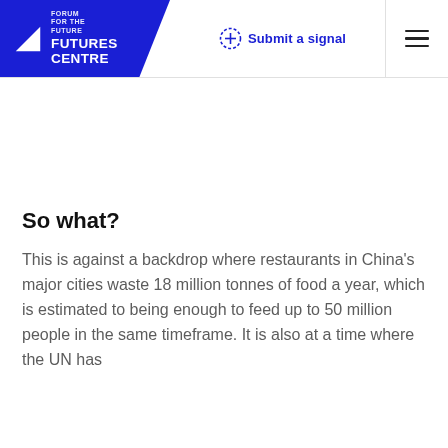FUTURES CENTRE | Submit a signal
So what?
This is against a backdrop where restaurants in China's major cities waste 18 million tonnes of food a year, which is estimated to being enough to feed up to 50 million people in the same timeframe. It is also at a time where the UN has